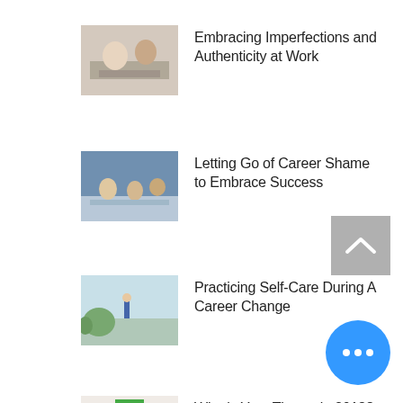[Figure (photo): Two people working together at a desk]
Embracing Imperfections and Authenticity at Work
[Figure (photo): People in a meeting or office setting]
Letting Go of Career Shame to Embrace Success
[Figure (photo): Person outdoors near a building or waterfront]
Practicing Self-Care During A Career Change
[Figure (photo): Woman holding books on her head]
What's Your Theme in 2018?
[Figure (illustration): Scroll to top button - grey square with up chevron]
[Figure (illustration): More options button - blue circle with three dots]